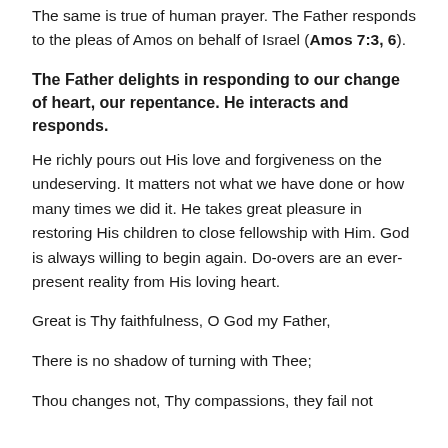The same is true of human prayer. The Father responds to the pleas of Amos on behalf of Israel (Amos 7:3, 6).
The Father delights in responding to our change of heart, our repentance. He interacts and responds.
He richly pours out His love and forgiveness on the undeserving. It matters not what we have done or how many times we did it. He takes great pleasure in restoring His children to close fellowship with Him. God is always willing to begin again. Do-overs are an ever-present reality from His loving heart.
Great is Thy faithfulness, O God my Father,
There is no shadow of turning with Thee;
Thou changes not, Thy compassions, they fail not